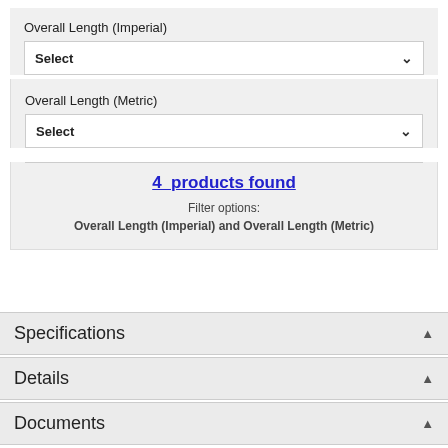Overall Length (Imperial)
Select
Overall Length (Metric)
Select
4  products found
Filter options:
Overall Length (Imperial) and Overall Length (Metric)
Specifications
Details
Documents